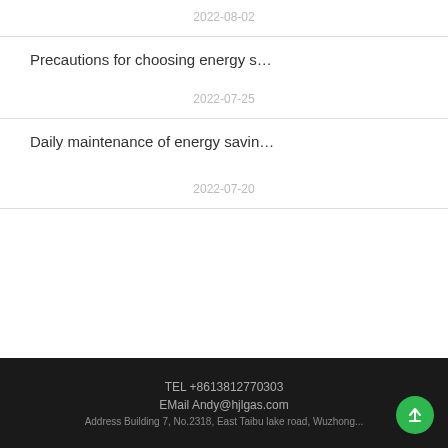2022-08-02
Precautions for choosing energy s…
2022-07-25
Daily maintenance of energy savin…
2022-07-20
TEL +8613812770303
EMail Andy@hjlgas.com
Address Building 7, No.2318, East Taibu lake road, Wuzhong...